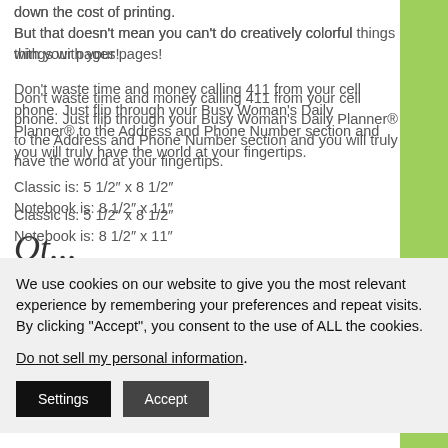down the cost of printing.
But that doesn't mean you can't do creatively colorful things with your pages!
Don't waste time and money calling 411 from your cell phone. Just flip through your Busy Woman's Daily Planner® to the Address and Phone Number section and you will truly have the world at your fingertips.
Classic is: 5 1/2" x 8 1/2"
Notebook is: 8 1/2" x 11"
[Figure (other): Partial cursive/script text visible at bottom of content area]
We use cookies on our website to give you the most relevant experience by remembering your preferences and repeat visits. By clicking "Accept", you consent to the use of ALL the cookies.
Do not sell my personal information.
Settings   Accept